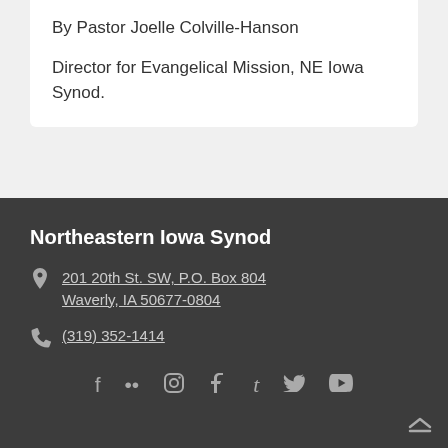By Pastor Joelle Colville-Hanson
Director for Evangelical Mission, NE Iowa Synod.
Northeastern Iowa Synod
201 20th St. SW, P.O. Box 804 Waverly, IA 50677-0804
(319) 352-1414
f •• Instagram Pinterest t Twitter YouTube